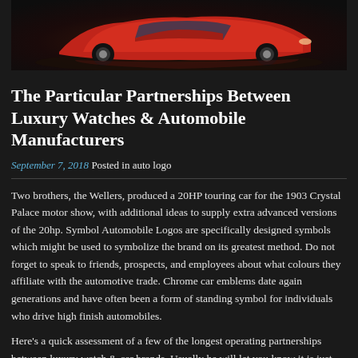[Figure (photo): Partial view of a red sports car on a dark background, hero image at top of blog post]
The Particular Partnerships Between Luxury Watches & Automobile Manufacturers
September 7, 2018 Posted in auto logo
Two brothers, the Wellers, produced a 20HP touring car for the 1903 Crystal Palace motor show, with additional ideas to supply extra advanced versions of the 20hp. Symbol Automobile Logos are specifically designed symbols which might be used to symbolize the brand on its greatest method. Do not forget to speak to friends, prospects, and employees about what colours they affiliate with the automotive trade. Chrome car emblems date again generations and have often been a form of standing symbol for individuals who drive high finish automobiles.
Here’s a quick assessment of a few of the longest operating partnerships between luxury watch & car brands. Usually he will let you know it is just the automotive logos that differ as a result of that was what the salesperson informed him. Now you understand how car